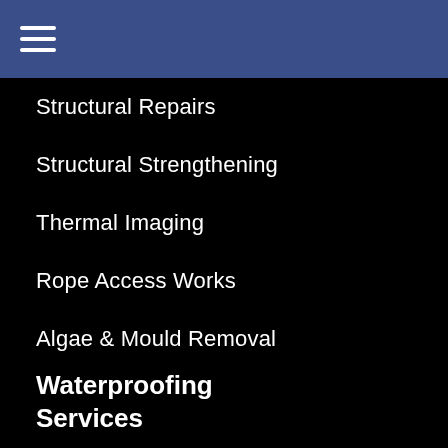Navigation menu header bar with hamburger icon
Structural Repairs
Structural Strengthening
Thermal Imaging
Rope Access Works
Algae & Mould Removal
Condensation & Moisture Control
Drone Inspection
Expansion Joints
Waterproofing Services